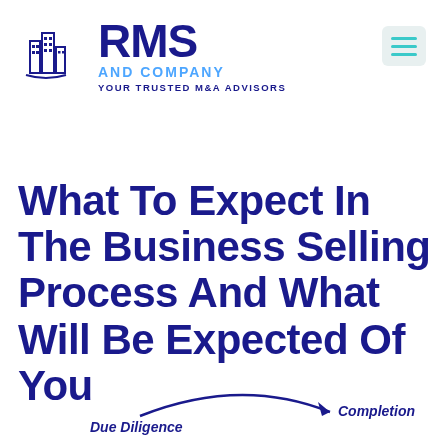[Figure (logo): RMS and Company logo — building silhouette icon with text 'RMS AND COMPANY YOUR TRUSTED M&A ADVISORS' in navy and blue]
[Figure (other): Hamburger menu button (three teal horizontal lines on a light grey rounded rectangle background)]
What To Expect In The Business Selling Process And What Will Be Expected Of You
[Figure (other): Partial process diagram showing an arrow from 'Due Diligence' pointing right to 'Completion']